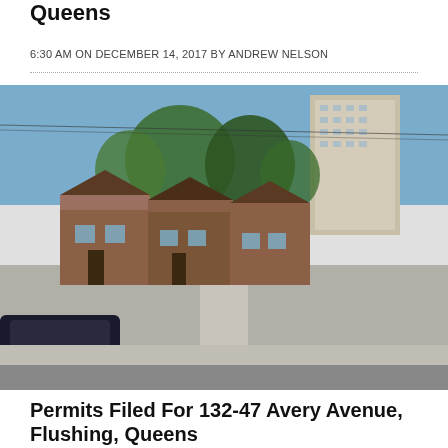Queens
6:30 AM ON DECEMBER 14, 2017 BY ANDREW NELSON
[Figure (photo): Street-level view of brick row houses in Queens with trees and a tall apartment building in the background]
Permits Filed For 132-47 Avery Avenue, Flushing, Queens
6:00 AM ON DECEMBER 14, 2017 BY ANDREW NELSON
[Figure (photo): Partial view of a construction crane against a light sky]